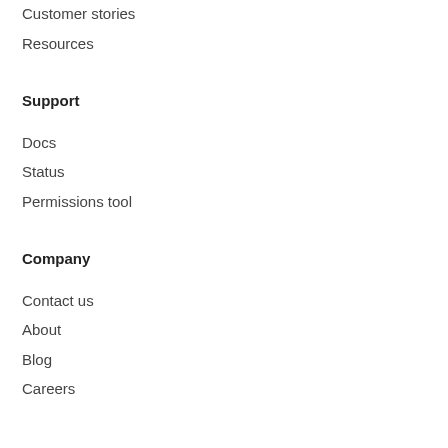Customer stories
Resources
Support
Docs
Status
Permissions tool
Company
Contact us
About
Blog
Careers